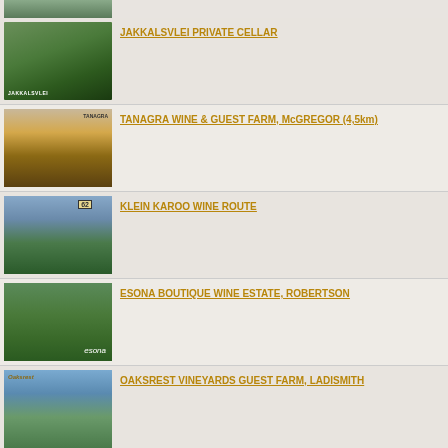[Figure (photo): Partial top image of a winery/vineyard property]
[Figure (photo): Jakkalsvlei Private Cellar vineyard landscape with logo]
JAKKALSVLEI PRIVATE CELLAR
[Figure (photo): Tanagra Wine and Guest Farm landscape with mountains]
TANAGRA WINE & GUEST FARM, McGREGOR (4,5km)
[Figure (photo): Klein Karoo Wine Route vineyard with people walking, Route 62 sign]
KLEIN KAROO WINE ROUTE
[Figure (photo): Esona Boutique Wine Estate Robertson buildings and vineyard]
ESONA BOUTIQUE WINE ESTATE, ROBERTSON
[Figure (photo): Oaksrest Vineyards Guest Farm Ladismith landscape with river and mountains]
OAKSREST VINEYARDS GUEST FARM, LADISMITH